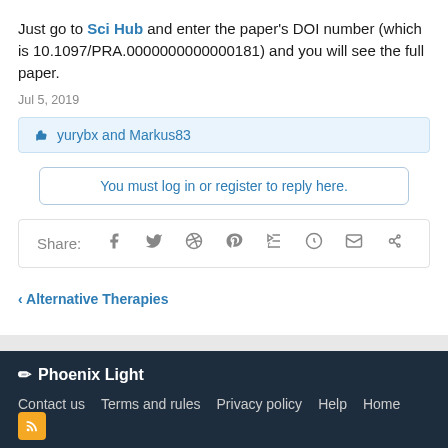Just go to Sci Hub and enter the paper's DOI number (which is 10.1097/PRA.0000000000000181) and you will see the full paper.
Jul 5, 2019
yurybx and Markus83
You must log in or register to reply here.
Share:
Alternative Therapies
Phoenix Light
Contact us  Terms and rules  Privacy policy  Help  Home
Forum software by XenForo™ © 2010-2018 XenForo Ltd.
Phoenix Rising Myalgic Encephalomyelitis / Chronic Fatigue Syndrome (ME/CFS) Forums